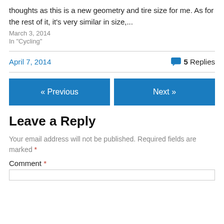thoughts as this is a new geometry and tire size for me.  As for the rest of it, it's very similar in size,...
March 3, 2014
In "Cycling"
April 7, 2014   💬 5 Replies
« Previous
Next »
Leave a Reply
Your email address will not be published. Required fields are marked *
Comment *